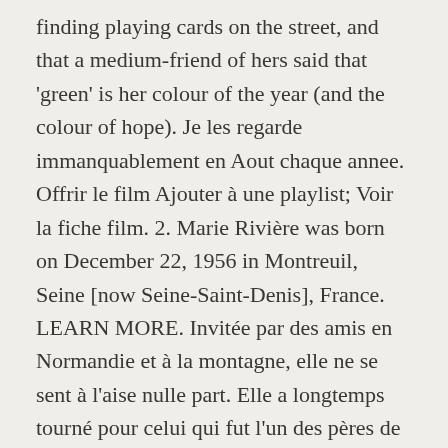finding playing cards on the street, and that a medium-friend of hers said that 'green' is her colour of the year (and the colour of hope). Je les regarde immanquablement en Aout chaque annee. Offrir le film Ajouter à une playlist; Voir la fiche film. 2. Marie Rivière was born on December 22, 1956 in Montreuil, Seine [now Seine-Saint-Denis], France. LEARN MORE. Invitée par des amis en Normandie et à la montagne, elle ne se sent à l'aise nulle part. Elle a longtemps tourné pour celui qui fut l'un des pères de la Nouvelle Vague ; lui signe des films aux faux-airs rohmériens. It is almost entirely improvised. Get a $5 reward for a movie on us. Le Rayon vert, film français réalisé par Éric